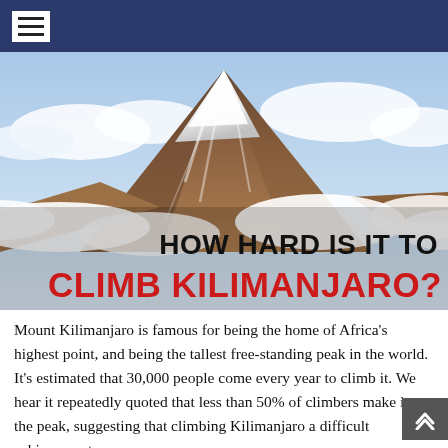navigation menu header
[Figure (photo): Aerial/elevated photograph of Mount Kilimanjaro showing the snow-capped peak surrounded by clouds, with the brown volcanic slopes visible below. Overlaid text reads 'HOW HARD IS IT TO CLIMB KILIMANJARO?']
HOW HARD IS IT TO CLIMB KILIMANJARO?
Mount Kilimanjaro is famous for being the home of Africa's highest point, and being the tallest free-standing peak in the world. It's estimated that 30,000 people come every year to climb it. We hear it repeatedly quoted that less than 50% of climbers make it to the peak, suggesting that climbing Kilimanjaro a difficult achievement.